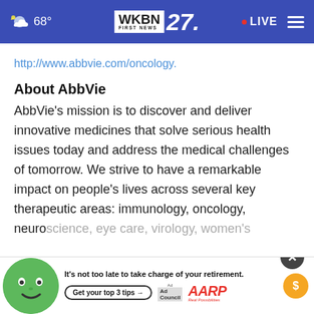68° WKBN FIRST NEWS 27. LIVE
http://www.abbvie.com/oncology.
About AbbVie
AbbVie's mission is to discover and deliver innovative medicines that solve serious health issues today and address the medical challenges of tomorrow. We strive to have a remarkable impact on people's lives across several key therapeutic areas: immunology, oncology, neuroscience, eye care, virology, women's health